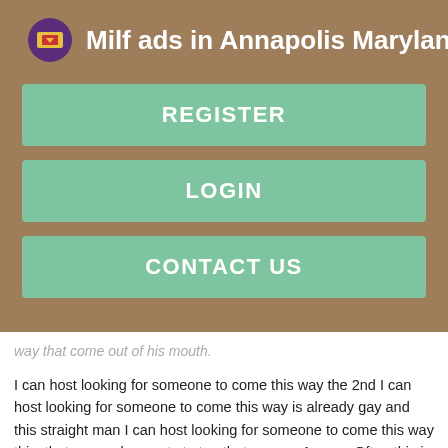Milf ads in Annapolis Maryland
REGISTER
LOGIN
CONTACT US
way that come out of his mouth.
I can host looking for someone to come this way the 2nd I can host looking for someone to come this way is already gay and this straight man I can host looking for someone to come this way this, that means he wants to tap that source. Answer Often this is just a compliment from the straight man. He can't say he thinks you're hot, but recognises that if he were gay, then he probably would find I can host looking for someone to come this way hot.